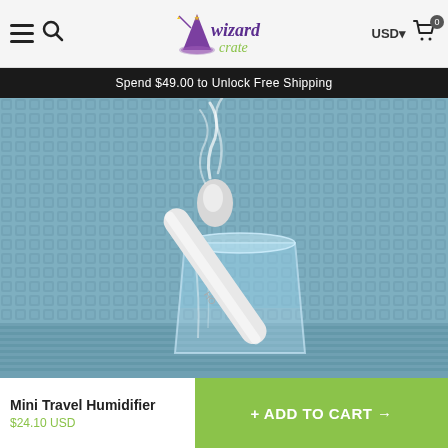Wizard Crate — USD — Cart (0)
Spend $49.00 to Unlock Free Shipping
[Figure (photo): Mini travel humidifier stick inserted into a glass of water on a blue textured fabric, emitting a mist of vapor]
Mini Travel Humidifier
$24.10 USD
+ ADD TO CART →